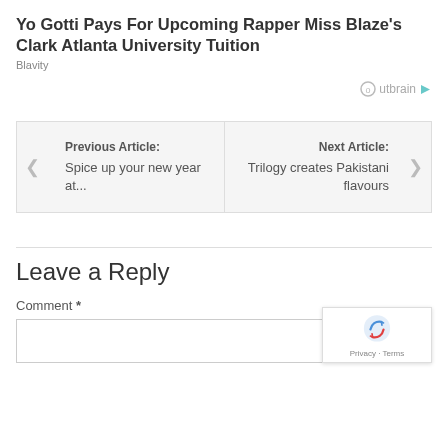Yo Gotti Pays For Upcoming Rapper Miss Blaze's Clark Atlanta University Tuition
Blavity
Outbrain
Previous Article: Spice up your new year at...
Next Article: Trilogy creates Pakistani flavours
Leave a Reply
Comment *